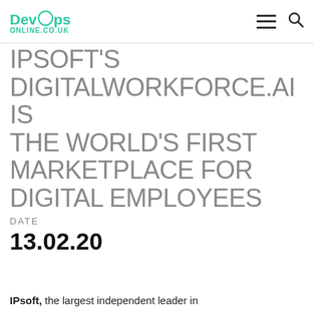DevOps ONLINE.CO.UK
IPSOFT'S DIGITALWORKFORCE.AI IS THE WORLD'S FIRST MARKETPLACE FOR DIGITAL EMPLOYEES
DATE
13.02.20
IPsoft, the largest independent leader in